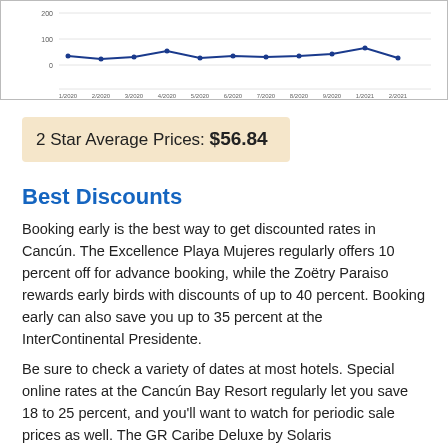[Figure (line-chart): ]
2 Star Average Prices: $56.84
Best Discounts
Booking early is the best way to get discounted rates in Cancún. The Excellence Playa Mujeres regularly offers 10 percent off for advance booking, while the Zoëtry Paraiso rewards early birds with discounts of up to 40 percent. Booking early can also save you up to 35 percent at the InterContinental Presidente.
Be sure to check a variety of dates at most hotels. Special online rates at the Cancún Bay Resort regularly let you save 18 to 25 percent, and you'll want to watch for periodic sale prices as well. The GR Caribe Deluxe by Solaris offers online discounts of up to 36 percent, with occasional...